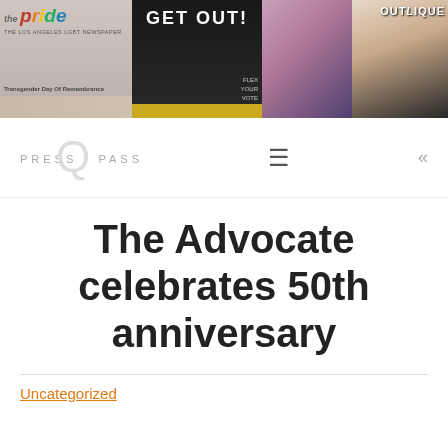[Figure (photo): Collage of magazine covers including The Pride with rainbow text and 'Transgender Day Of Remembrance', Get Out! magazine with man on cover and 'FLEX YOUR VOTE', a colorful fashion magazine, and Outlique magazine with a pink-haired performer]
PRESS PASS
The Advocate celebrates 50th anniversary
Uncategorized